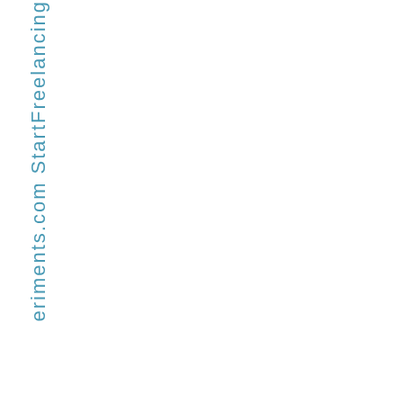eriments.com StartFreelan­­cing